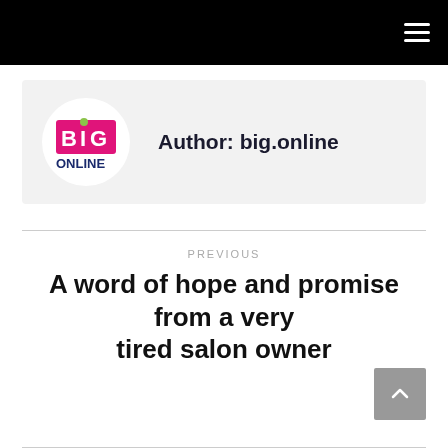[Figure (logo): BIG ONLINE logo: a white circle with a pink/magenta square containing white text 'BIG' with a green dot above the 'I', and below in dark blue text 'ONLINE']
Author: big.online
PREVIOUS
A word of hope and promise from a very tired salon owner